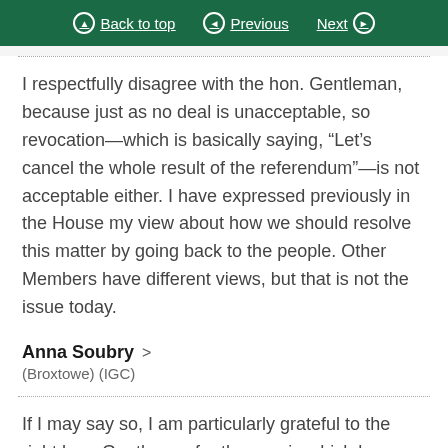Back to top | Previous | Next
I respectfully disagree with the hon. Gentleman, because just as no deal is unacceptable, so revocation—which is basically saying, “Let’s cancel the whole result of the referendum”—is not acceptable either. I have expressed previously in the House my view about how we should resolve this matter by going back to the people. Other Members have different views, but that is not the issue today.
Anna Soubry > (Broxtowe) (IGC)
If I may say so, I am particularly grateful to the right hon. Gentleman for the way in which he chairs the